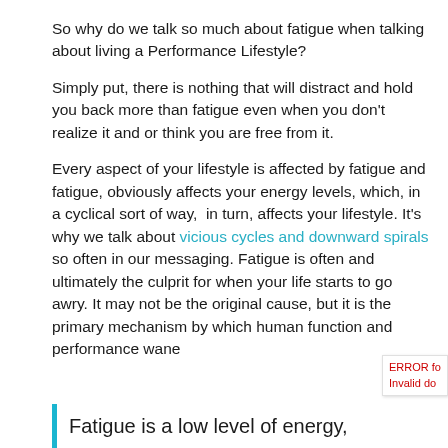So why do we talk so much about fatigue when talking about living a Performance Lifestyle?
Simply put, there is nothing that will distract and hold you back more than fatigue even when you don't realize it and or think you are free from it.
Every aspect of your lifestyle is affected by fatigue and fatigue, obviously affects your energy levels, which, in a cyclical sort of way,  in turn, affects your lifestyle. It's why we talk about vicious cycles and downward spirals so often in our messaging. Fatigue is often and ultimately the culprit for when your life starts to go awry. It may not be the original cause, but it is the primary mechanism by which human function and performance wane
ERROR fo
Invalid do
Fatigue is a low level of energy,